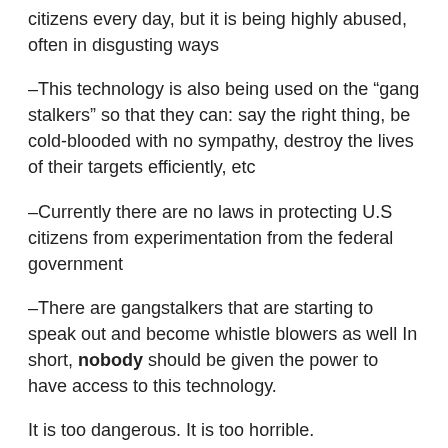citizens every day, but it is being highly abused, often in disgusting ways
–This technology is also being used on the “gang stalkers” so that they can: say the right thing, be cold-blooded with no sympathy, destroy the lives of their targets efficiently, etc
–Currently there are no laws in protecting U.S citizens from experimentation from the federal government
–There are gangstalkers that are starting to speak out and become whistle blowers as well In short, nobody should be given the power to have access to this technology.
It is too dangerous. It is too horrible.